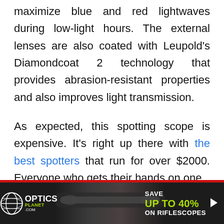maximize blue and red lightwaves during low-light hours. The external lenses are also coated with Leupold's Diamondcoat 2 technology that provides abrasion-resistant properties and also improves light transmission.

As expected, this spotting scope is expensive. It's right up there with the best spotters that run for over $2000. Everyone who gets their hands on one
[Figure (infographic): Advertisement banner for OpticsPlanet.com with dark background, scope image, globe logo, and text: SAVE UP TO 40% ON RIFLESCOPES with green and white text on dark background]